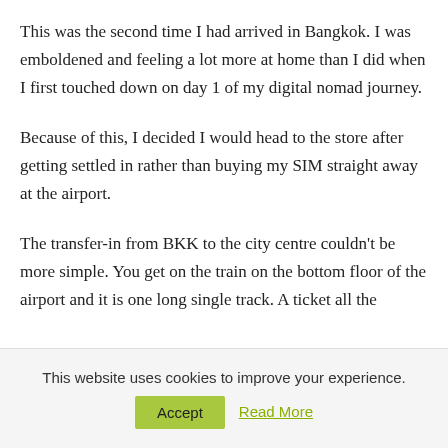This was the second time I had arrived in Bangkok. I was emboldened and feeling a lot more at home than I did when I first touched down on day 1 of my digital nomad journey.
Because of this, I decided I would head to the store after getting settled in rather than buying my SIM straight away at the airport.
The transfer-in from BKK to the city centre couldn’t be more simple. You get on the train on the bottom floor of the airport and it is one long single track. A ticket all the
This website uses cookies to improve your experience.
Accept   Read More